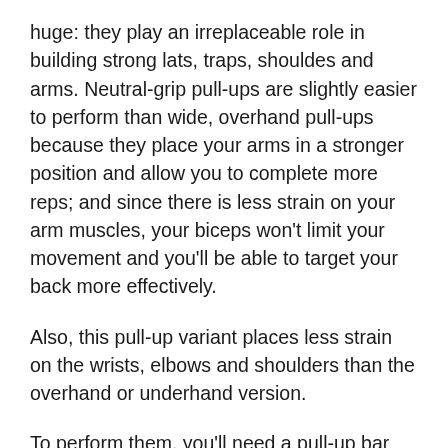huge: they play an irreplaceable role in building strong lats, traps, shouldes and arms. Neutral-grip pull-ups are slightly easier to perform than wide, overhand pull-ups because they place your arms in a stronger position and allow you to complete more reps; and since there is less strain on your arm muscles, your biceps won't limit your movement and you'll be able to target your back more effectively.
Also, this pull-up variant places less strain on the wrists, elbows and shoulders than the overhand or underhand version.
To perform them, you'll need a pull-up bar that has neutral or parallel grip handles that put your hands in a neutral position with your palms facing each other. Start from an arms-extended position and maintaining tension in your lats and shoulders, pull your chin over the bar by driving your elbows